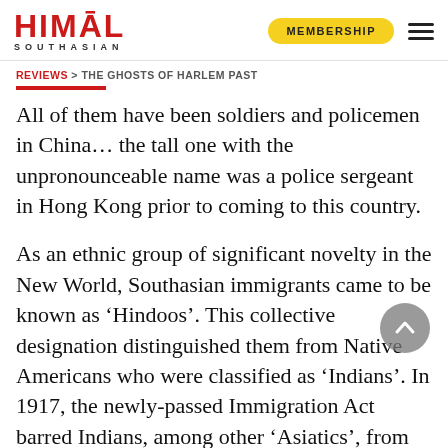HIMAL SOUTHASIAN | MEMBERSHIP
REVIEWS > THE GHOSTS OF HARLEM PAST
All of them have been soldiers and policemen in China… the tall one with the unpronounceable name was a police sergeant in Hong Kong prior to coming to this country.
As an ethnic group of significant novelty in the New World, Southasian immigrants came to be known as 'Hindoos'. This collective designation distinguished them from Native Americans who were classified as 'Indians'. In 1917, the newly-passed Immigration Act barred Indians, among other 'Asiatics', from coming to America, while